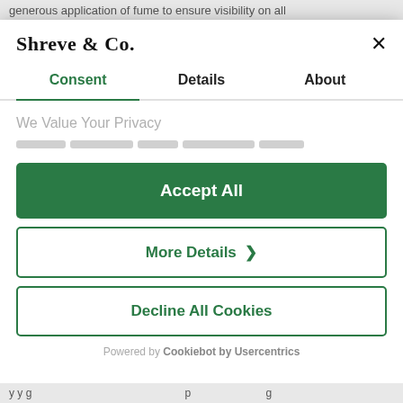generous application of fume to ensure visibility on all
[Figure (screenshot): Shreve & Co. cookie consent modal with tabs: Consent (active), Details, About. Contains 'We Value Your Privacy' heading, blurred text, Accept All button (green), More Details button (outlined green with chevron), Decline All Cookies button (outlined green). Powered by Cookiebot by Usercentrics footer.]
y y g p g